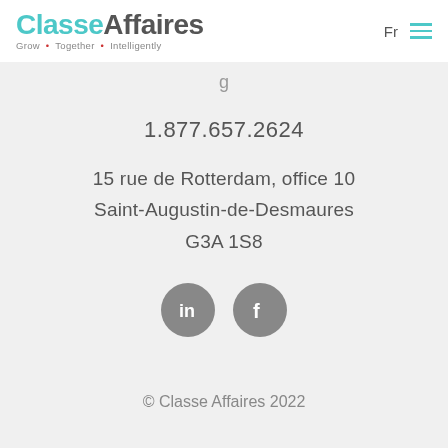ClasseAffaires — Grow • Together • Intelligently — Fr (menu)
1.877.657.2624
15 rue de Rotterdam, office 10
Saint-Augustin-de-Desmaures
G3A 1S8
[Figure (illustration): Two social media icon circles: LinkedIn (in) and Facebook (f), grey circles]
© Classe Affaires 2022